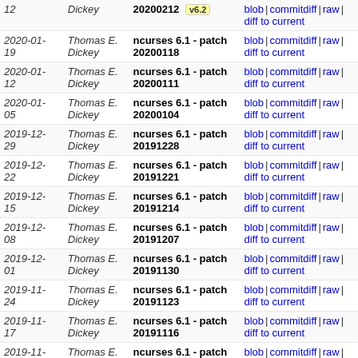| Date | Author | Commit message | Actions |
| --- | --- | --- | --- |
| 2020-01-12 | Thomas E. Dickey | ncurses 6.1 - patch 20200212 [v6.2] | blob | commitdiff | raw | diff to current |
| 2020-01-19 | Thomas E. Dickey | ncurses 6.1 - patch 20200118 | blob | commitdiff | raw | diff to current |
| 2020-01-12 | Thomas E. Dickey | ncurses 6.1 - patch 20200111 | blob | commitdiff | raw | diff to current |
| 2020-01-05 | Thomas E. Dickey | ncurses 6.1 - patch 20200104 | blob | commitdiff | raw | diff to current |
| 2019-12-29 | Thomas E. Dickey | ncurses 6.1 - patch 20191228 | blob | commitdiff | raw | diff to current |
| 2019-12-22 | Thomas E. Dickey | ncurses 6.1 - patch 20191221 | blob | commitdiff | raw | diff to current |
| 2019-12-15 | Thomas E. Dickey | ncurses 6.1 - patch 20191214 | blob | commitdiff | raw | diff to current |
| 2019-12-08 | Thomas E. Dickey | ncurses 6.1 - patch 20191207 | blob | commitdiff | raw | diff to current |
| 2019-12-01 | Thomas E. Dickey | ncurses 6.1 - patch 20191130 | blob | commitdiff | raw | diff to current |
| 2019-11-24 | Thomas E. Dickey | ncurses 6.1 - patch 20191123 | blob | commitdiff | raw | diff to current |
| 2019-11-17 | Thomas E. Dickey | ncurses 6.1 - patch 20191116 | blob | commitdiff | raw | diff to current |
| 2019-11-10 | Thomas E. Dickey | ncurses 6.1 - patch 20191109 | blob | commitdiff | raw | diff to current |
| 2019-11-03 | Thomas E. Dickey | ncurses 6.1 - patch 20191102 | blob | commitdiff | raw | diff to current |
| 2019-10-27 | Thomas E. Dickey | ncurses 6.1 - patch 20191026 | blob | commitdiff | raw | diff to current |